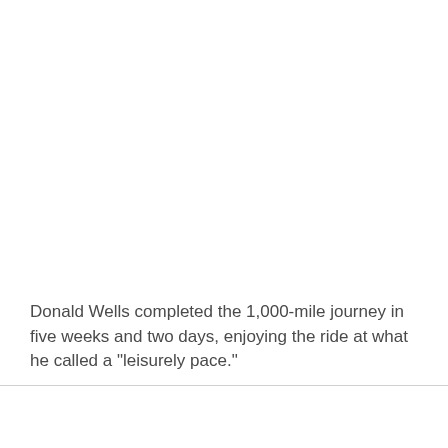Donald Wells completed the 1,000-mile journey in five weeks and two days, enjoying the ride at what he called a "leisurely pace."